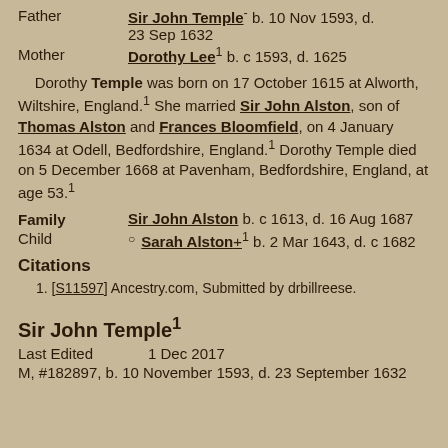Father: Sir John Temple b. 10 Nov 1593, d. 23 Sep 1632
Mother: Dorothy Lee¹ b. c 1593, d. 1625
Dorothy Temple was born on 17 October 1615 at Alworth, Wiltshire, England.¹ She married Sir John Alston, son of Thomas Alston and Frances Bloomfield, on 4 January 1634 at Odell, Bedfordshire, England.¹ Dorothy Temple died on 5 December 1668 at Pavenham, Bedfordshire, England, at age 53.¹
Family: Sir John Alston b. c 1613, d. 16 Aug 1687
Child: Sarah Alston+¹ b. 2 Mar 1643, d. c 1682
Citations
1. [S11597] Ancestry.com, Submitted by drbillreese.
Sir John Temple¹
Last Edited   1 Dec 2017
M, #182897, b. 10 November 1593, d. 23 September 1632